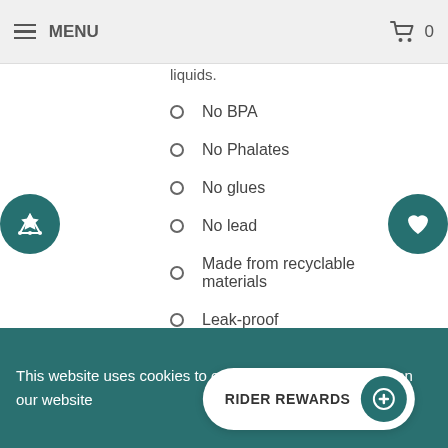MENU | 0 (cart)
making it easy to hold when it contains hot liquids.
No BPA
No Phalates
No glues
No lead
Made from recyclable materials
Leak-proof
Complete with heat sleeve
This website uses cookies to ensure the best experience on our website
RIDER REWARDS